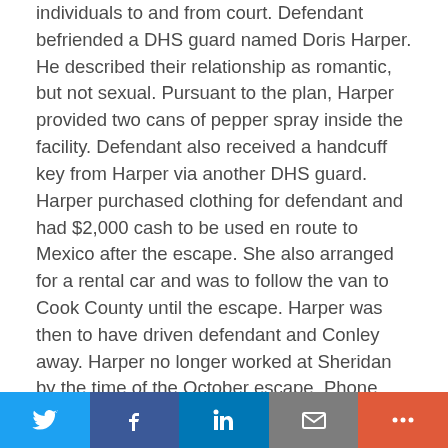individuals to and from court. Defendant befriended a DHS guard named Doris Harper. He described their relationship as romantic, but not sexual. Pursuant to the plan, Harper provided two cans of pepper spray inside the facility. Defendant also received a handcuff key from Harper via another DHS guard. Harper purchased clothing for defendant and had $2,000 cash to be used en route to Mexico after the escape. She also arranged for a rental car and was to follow the van to Cook County until the escape. Harper was then to have driven defendant and Conley away. Harper no longer worked at Sheridan by the time of the October escape. Phone records showed multiple calls from Sheridan to Harper's home from July 8 through October 5, 2000. The rear cargo area of Harper's car in Ottawa was loaded with clothing, duffel bags, a .25-caliber handgun, a holster, and ammunition; the car also contained a bolt cutter and 35 rounds of 9mm ammunition. Inside her home police
Twitter | Facebook | LinkedIn | Email | More